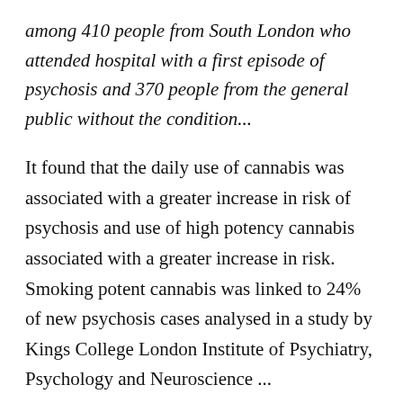among 410 people from South London who attended hospital with a first episode of psychosis and 370 people from the general public without the condition...
It found that the daily use of cannabis was associated with a greater increase in risk of psychosis and use of high potency cannabis associated with a greater increase in risk. Smoking potent cannabis was linked to 24% of new psychosis cases analysed in a study by Kings College London Institute of Psychiatry, Psychology and Neuroscience ...